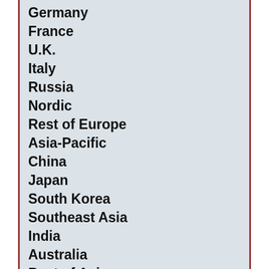Germany
France
U.K.
Italy
Russia
Nordic
Rest of Europe
Asia-Pacific
China
Japan
South Korea
Southeast Asia
India
Australia
Rest of Asia
Latin America
Mexico